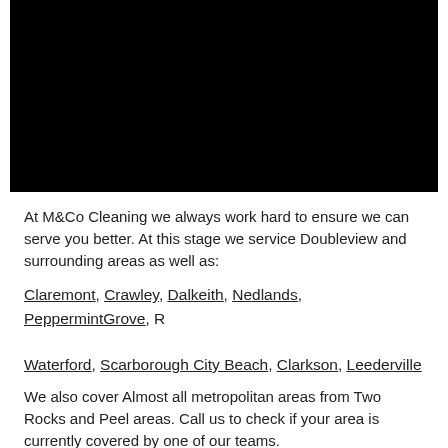[Figure (photo): Black rectangle image placeholder at top of page]
At M&Co Cleaning we always work hard to ensure we can serve you better. At this stage we service Doubleview and surrounding areas as well as:
Claremont, Crawley, Dalkeith, Nedlands, PeppermintGrove, R... Waterford, Scarborough City Beach, Clarkson, Leederville
We also cover Almost all metropolitan areas from Two Rocks and Peel areas. Call us to check if your area is currently covered by one of our teams.